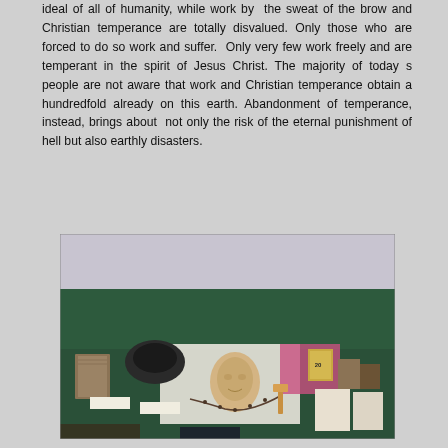ideal of all of humanity, while work by the sweat of the brow and Christian temperance are totally disvalued. Only those who are forced to do so work and suffer. Only very few work freely and are temperant in the spirit of Jesus Christ. The majority of today s people are not aware that work and Christian temperance obtain a hundredfold already on this earth. Abandonment of temperance, instead, brings about not only the risk of the eternal punishment of hell but also earthly disasters.
[Figure (photo): A photograph of a display table showing various religious artifacts, books, medals, rosaries, a wax face mask or relief, cloth items, and other devotional objects arranged on a green and white surface.]